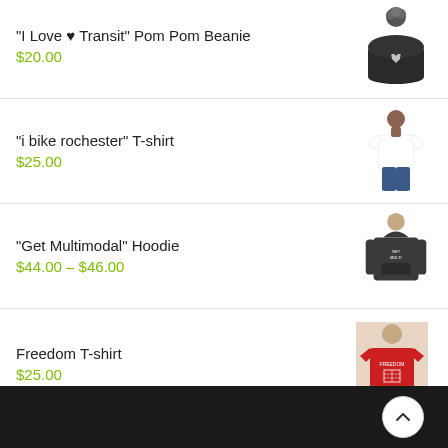"I Love ♥ Transit" Pom Pom Beanie
$20.00
"i bike rochester" T-shirt
$25.00
"Get Multimodal" Hoodie
$44.00 – $46.00
Freedom T-shirt
$25.00